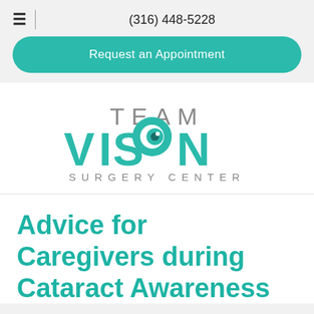≡ | (316) 448-5228
Request an Appointment
[Figure (logo): Team Vision Surgery Center logo. TEAM in gray, VISION in large teal letters with an eye icon replacing the letter O, SURGERY CENTER in gray spaced capitals below.]
Advice for Caregivers during Cataract Awareness